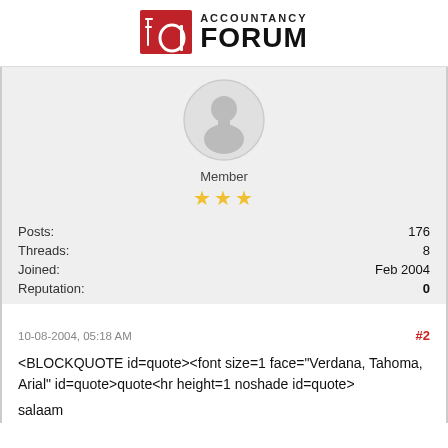[Figure (logo): Accountancy Forum logo with red stylized 'a' icon and bold text reading ACCOUNTANCY FORUM]
[Figure (illustration): Generic user avatar: grey circle with silhouette of a person]
Member
★★★
| Posts: | 176 |
| Threads: | 8 |
| Joined: | Feb 2004 |
| Reputation: | 0 |
10-08-2004, 05:18 AM
#2
<BLOCKQUOTE id=quote><font size=1 face="Verdana, Tahoma, Arial" id=quote>quote<hr height=1 noshade id=quote>
salaam